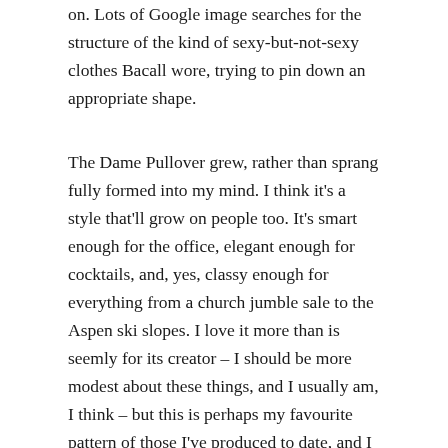on. Lots of Google image searches for the structure of the kind of sexy-but-not-sexy clothes Bacall wore, trying to pin down an appropriate shape.
The Dame Pullover grew, rather than sprang fully formed into my mind. I think it's a style that'll grow on people too. It's smart enough for the office, elegant enough for cocktails, and, yes, classy enough for everything from a church jumble sale to the Aspen ski slopes. I love it more than is seemly for its creator – I should be more modest about these things, and I usually am, I think – but this is perhaps my favourite pattern of those I've produced to date, and I design only what impassions me. The nipped waist, the Vikkel braid borders, the pointless wee buttons on the polo neck make my toes curl with joy.